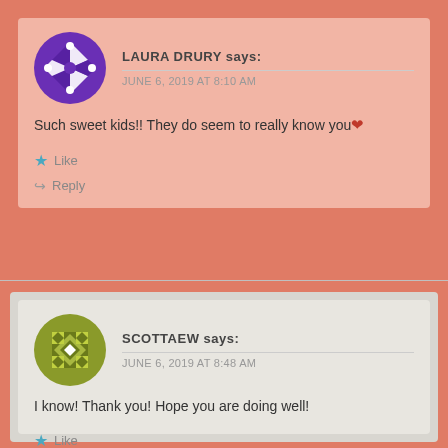LAURA DRURY says:
JUNE 6, 2019 AT 8:10 AM
Such sweet kids!! They do seem to really know you❤
Like
Reply
SCOTTAEW says:
JUNE 6, 2019 AT 8:48 AM
I know! Thank you! Hope you are doing well!
Like
Reply